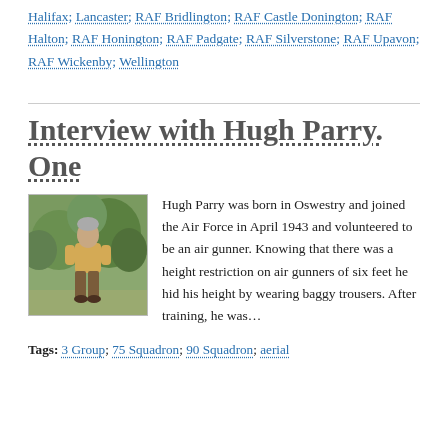Halifax; Lancaster; RAF Bridlington; RAF Castle Donington; RAF Halton; RAF Honington; RAF Padgate; RAF Silverstone; RAF Upavon; RAF Wickenby; Wellington
Interview with Hugh Parry. One
[Figure (photo): Photo of Hugh Parry, an elderly man standing outdoors in front of green foliage, wearing a yellow/tan top and brown trousers.]
Hugh Parry was born in Oswestry and joined the Air Force in April 1943 and volunteered to be an air gunner. Knowing that there was a height restriction on air gunners of six feet he hid his height by wearing baggy trousers. After training, he was…
Tags: 3 Group; 75 Squadron; 90 Squadron; aerial